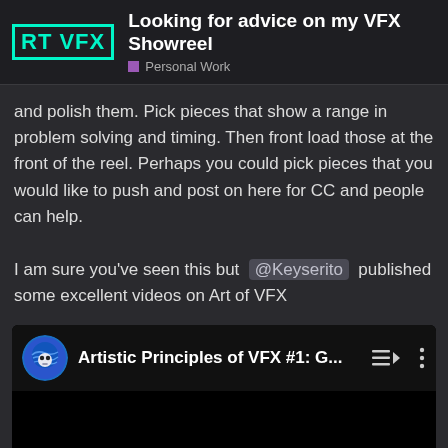RT VFX — Looking for advice on my VFX Showreel — Personal Work
and polish them. Pick pieces that show a range in problem solving and timing. Then front load those at the front of the reel. Perhaps you could pick pieces that you would like to push and post on here for CC and people can help.

I am sure you've seen this but @Keyserito published some excellent videos on Art of VFX
[Figure (screenshot): Embedded video thumbnail showing 'Artistic Principles of VFX #1: G...' with a blue planet/skull avatar icon, a playlist icon, and a vertical dots menu icon. The video area below is black.]